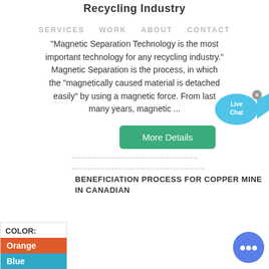Recycling Industry
SERVICES   WORK   ABOUT   CONTACT
"Magnetic Separation Technology is the most important technology for any recycling industry." Magnetic Separation is the process, in which the "magnetically caused material is detached easily" by using a magnetic force. From last many years, magnetic ...
[Figure (illustration): Live Chat bubble with fish tail shape, teal/blue color, white text reading 'Live Chat', with a small close X button]
COLOR:
Orange
Blue
Yellow
More Details
BENEFICIATION PROCESS FOR COPPER MINE IN CANADIAN